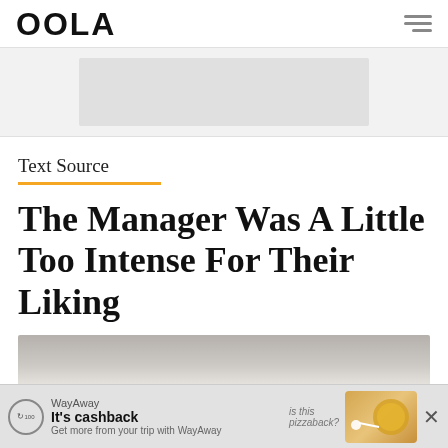OOLA
[Figure (other): Advertisement banner placeholder area (gray rectangle)]
Text Source
The Manager Was A Little Too Intense For Their Liking
[Figure (photo): Partial photo strip at the bottom of the article content area]
[Figure (other): WayAway advertisement banner at the bottom: 'It's cashback - Get more from your trip with WayAway']